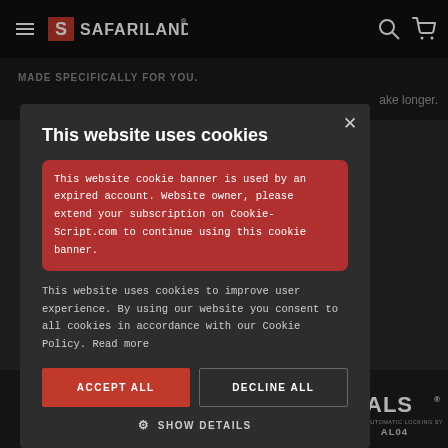[Figure (screenshot): Safariland website navigation bar with hamburger menu, Safariland logo, search icon, and cart icon on black background]
MADE SPECIFICALLY FOR YOU.
ake longer.
[Figure (infographic): Cookie consent modal dialog on Safariland website. Title: 'This website uses cookies'. Contains a red error box saying the cookie banner is used by an expired account. Below that, standard cookie consent text. Two buttons: ACCEPT ALL and DECLINE ALL. Show Details link at bottom.]
This website cookie banner is used by an expired account. Website owner, please extend your subscription on Cookie-Script.com to continue using this cookie banner.
This website uses cookies to improve user experience. By using our website you consent to all cookies in accordance with our Cookie Policy. Read more
ACCEPT ALL
DECLINE ALL
SHOW DETAILS
CONCEALMENT
AL04